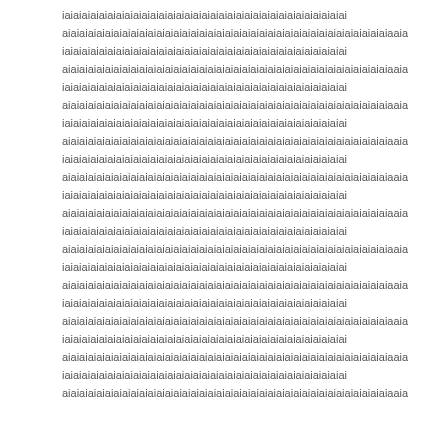iaiaiaiaiaiaiaiaiaiaiaiaiaiaiaiaiaiaiaiaiaiaiaiaiaiaiaiaiaiaiaiai aiaiaiaiaiaiaiaiaiaiaiaiaiaiaiaiaiaiaiaiaiaiaiaiaiaiaiaiaiaiaiaiaiaiaiaiaiaiaaia iaiaiaiaiaiaiaiaiaiaiaiaiaiaiaiaiaiaiaiaiaiaiaiaiaiaiaiaiaiaiaiaiai aiaiaiaiaiaiaiaiaiaiaiaiaiaiaiaiaiaiaiaiaiaiaiaiaiaiaiaiaiaiaiaiaiaiaiaiaiaiaaia iaiaiaiaiaiaiaiaiaiaiaiaiaiaiaiaiaiaiaiaiaiaiaiaiaiaiaiaiaiaiaiaiai aiaiaiaiaiaiaiaiaiaiaiaiaiaiaiaiaiaiaiaiaiaiaiaiaiaiaiaiaiaiaiaiaiaiaiaiaiaiaaia iaiaiaiaiaiaiaiaiaiaiaiaiaiaiaiaiaiaiaiaiaiaiaiaiaiaiaiaiaiaiaiaiai aiaiaiaiaiaiaiaiaiaiaiaiaiaiaiaiaiaiaiaiaiaiaiaiaiaiaiaiaiaiaiaiaiaiaiaiaiaiaaia iaiaiaiaiaiaiaiaiaiaiaiaiaiaiaiaiaiaiaiaiaiaiaiaiaiaiaiaiaiaiaiaiai aiaiaiaiaiaiaiaiaiaiaiaiaiaiaiaiaiaiaiaiaiaiaiaiaiaiaiaiaiaiaiaiaiaiaiaiaiaiaaia iaiaiaiaiaiaiaiaiaiaiaiaiaiaiaiaiaiaiaiaiaiaiaiaiaiaiaiaiaiaiaiaiai aiaiaiaiaiaiaiaiaiaiaiaiaiaiaiaiaiaiaiaiaiaiaiaiaiaiaiaiaiaiaiaiaiaiaiaiaiaiaaia iaiaiaiaiaiaiaiaiaiaiaiaiaiaiaiaiaiaiaiaiaiaiaiaiaiaiaiaiaiaiaiaiai aiaiaiaiaiaiaiaiaiaiaiaiaiaiaiaiaiaiaiaiaiaiaiaiaiaiaiaiaiaiaiaiaiaiaiaiaiaiaaia iaiaiaiaiaiaiaiaiaiaiaiaiaiaiaiaiaiaiaiaiaiaiaiaiaiaiaiaiaiaiaiaiai aiaiaiaiaiaiaiaiaiaiaiaiaiaiaiaiaiaiaiaiaiaiaiaiaiaiaiaiaiaiaiaiaiaiaiaiaiaiaaia iaiaiaiaiaiaiaiaiaiaiaiaiaiaiaiaiaiaiaiaiaiaiaiaiaiaiaiaiaiaiaiaiai aiaiaiaiaiaiaiaiaiaiaiaiaiaiaiaiaiaiaiaiaiaiaiaiaiaiaiaiaiaiaiaiaiaiaiaiaiaiaaia iaiaiaiaiaiaiaiaiaiaiaiaiaiaiaiaiaiaiaiaiaiaiaiaiaiaiaiaiaiaiaiaiai aiaiaiaiaiaiaiaiaiaiaiaiaiaiaiaiaiaiaiaiaiaiaiaiaiaiaiaiaiaiaiaiaiaiaiaiaiaiaaia iaiaiaiaiaiaiaiaiaiaiaiaiaiaiaiaiaiaiaiaiaiaiaiaiaiaiaiaiaiaiaiaiai aiaiaiaiaiaiaiaiaiaiaiaiaiaiaiaiaiaiaiaiaiaiaiaiaiaiaiaiaiaiaiaiaiaiaiaiaiaiaaia